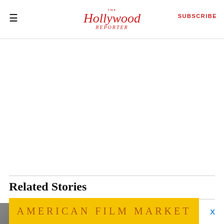The Hollywood Reporter — SUBSCRIBE
[Figure (other): Large white/empty advertisement area in the body of the page]
Related Stories
[Figure (photo): Thumbnail image for a related story — shows people posing, text 'LOVE MY DAD' visible]
MOVIE NEWS
[Figure (other): Yellow advertisement banner reading 'American Film Market' with a close/X button]